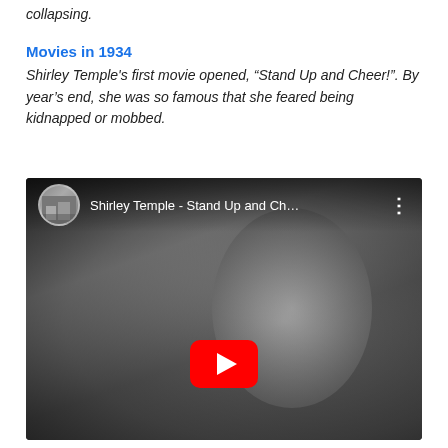collapsing.
Movies in 1934
Shirley Temple's first movie opened, “Stand Up and Cheer!”. By year’s end, she was so famous that she feared being kidnapped or mobbed.
[Figure (screenshot): YouTube video embed showing a black and white still of Shirley Temple as a child, with the video title 'Shirley Temple - Stand Up and Ch...' visible in the top bar alongside a channel thumbnail. A red YouTube play button is visible in the center of the video.]